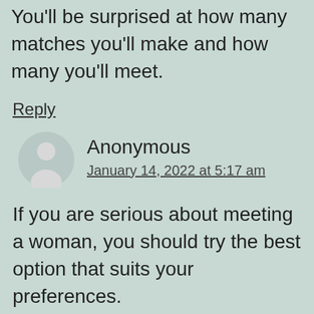You'll be surprised at how many matches you'll make and how many you'll meet.
Reply
Anonymous
January 14, 2022 at 5:17 am
If you are serious about meeting a woman, you should try the best option that suits your preferences.
Reply